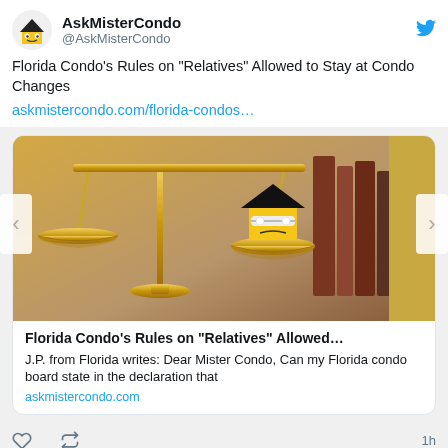AskMisterCondo @AskMisterCondo
Florida Condo's Rules on “Relatives” Allowed to Stay at Condo Changes
askmistercondo.com/florida-condos…
[Figure (photo): Gold balance scale with AskMisterCondo house mascot character sitting on one of the scale pans, with books in background]
Florida Condo’s Rules on “Relatives” Allowed…
J.P. from Florida writes: Dear Mister Condo, Can my Florida condo board state in the declaration that
askmistercondo.com
1h
AskMisterCondo @AskMisterCondo